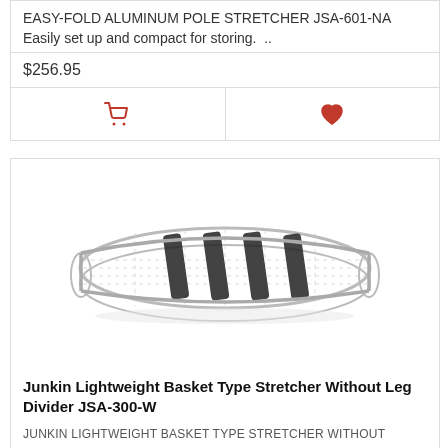EASY-FOLD ALUMINUM POLE STRETCHER JSA-601-NA Easily set up and compact for storing.  ..
$256.95
[Figure (screenshot): Shopping cart icon and heart/wishlist icon buttons in a two-column action row]
[Figure (photo): Junkin lightweight basket type stretcher without leg divider, wire basket stretcher shown at angle]
Junkin Lightweight Basket Type Stretcher Without Leg Divider JSA-300-W
JUNKIN LIGHTWEIGHT BASKET TYPE STRETCHER WITHOUT